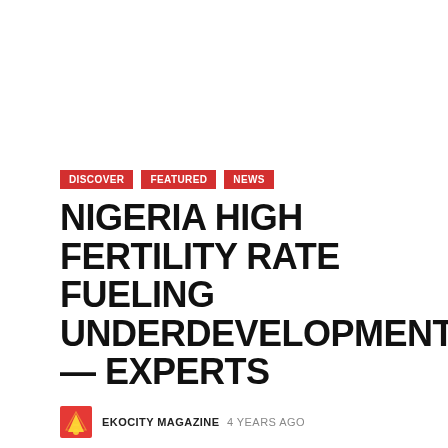DISCOVER
FEATURED
NEWS
NIGERIA HIGH FERTILITY RATE FUELING UNDERDEVELOPMENT — EXPERTS
EKOCITY MAGAZINE 4 YEARS AGO
By Chioma Obinna When John and Josephine Adigwe got married several years back, all they could think about at that time, was making babies. Today, Josephine is a mother of eight. Faced with the current economic challenges in the